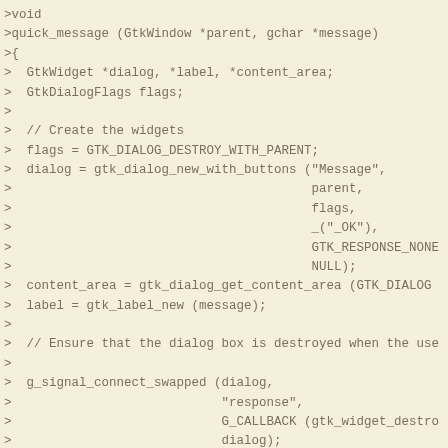>void
>quick_message (GtkWindow *parent, gchar *message)
>{
>  GtkWidget *dialog, *label, *content_area;
>  GtkDialogFlags flags;
>
>  // Create the widgets
>  flags = GTK_DIALOG_DESTROY_WITH_PARENT;
>  dialog = gtk_dialog_new_with_buttons ("Message",
>                                        parent,
>                                        flags,
>                                        _("_OK"),
>                                        GTK_RESPONSE_NONE,
>                                        NULL);
>  content_area = gtk_dialog_get_content_area (GTK_DIALOG
>  label = gtk_label_new (message);
>
>  // Ensure that the dialog box is destroyed when the use
>
>  g_signal_connect_swapped (dialog,
>                            "response",
>                            G_CALLBACK (gtk_widget_destro
>                            dialog);
>
>  // Add the label, and show everything we've added
>
>  gtk_container_add (GTK_CONTAINER (content_area), label
>  gtk_widget_show_all (dialog);
>}